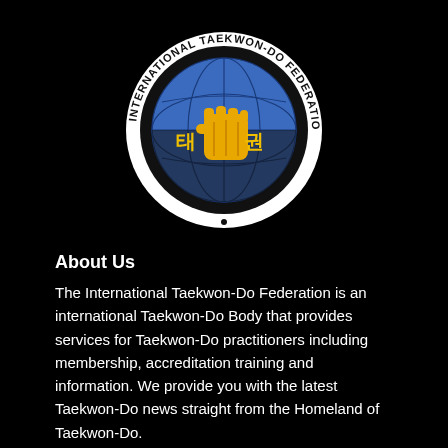[Figure (logo): International Taekwon-Do Federation circular logo with globe, fist, and Korean characters, text around the border reading INTERNATIONAL TAEKWON-DO FEDERATION]
About Us
The International Taekwon-Do Federation is an international Taekwon-Do Body that provides services for Taekwon-Do practitioners including membership, accreditation training and information. We provide you with the latest Taekwon-Do news straight from the Homeland of Taekwon-Do.
Contact us: korea@itfmail.org